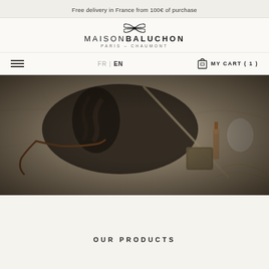Free delivery in France from 100€ of purchase
MAISON BALUCHON PARIS – CHAUMONT
FR | EN  MY CART ( 1 )
[Figure (photo): Flat lay photo of a decorative cosmetic pouch with floral/feather print, leather strap, alongside beauty items including a makeup brush, hair brush, small soap bar, and a lipstick on a marble surface. Image has a dark vignette overlay.]
OUR PRODUCTS